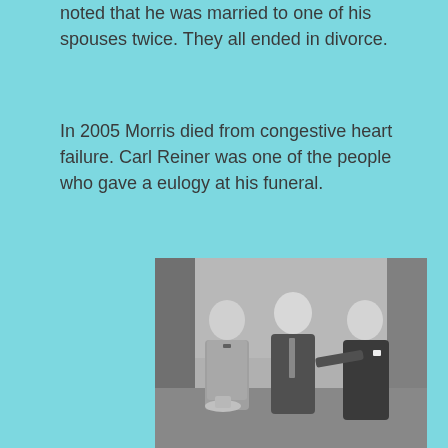noted that he was married to one of his spouses twice. They all ended in divorce.
In 2005 Morris died from congestive heart failure. Carl Reiner was one of the people who gave a eulogy at his funeral.
[Figure (photo): Black and white photograph showing three men in a scene, likely from a TV show or film. Left man wears a tweed jacket and bow tie, holding a hat. Center man wears a dark suit with tie. Right man wears a dark double-breasted suit with pocket square. Floral wallpaper visible in background.]